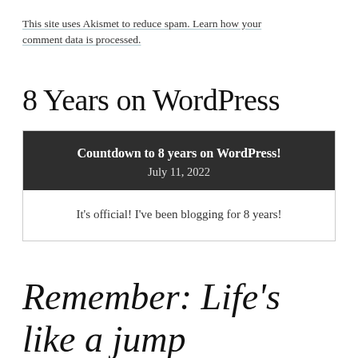This site uses Akismet to reduce spam. Learn how your comment data is processed.
8 Years on WordPress
[Figure (other): Dark card widget showing 'Countdown to 8 years on WordPress!' with date July 11, 2022, and body text: It's official! I've been blogging for 8 years!]
Remember: Life's like a jump rope.